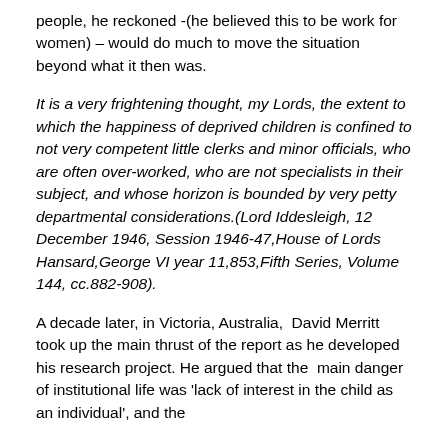people, he reckoned -(he believed this to be work for women) – would do much to move the situation beyond what it then was.
It is a very frightening thought, my Lords, the extent to which the happiness of deprived children is confined to not very competent little clerks and minor officials, who are often over-worked, who are not specialists in their subject, and whose horizon is bounded by very petty departmental considerations.(Lord Iddesleigh, 12 December 1946, Session 1946-47,House of Lords Hansard,George VI year 11,853,Fifth Series, Volume 144, cc.882-908).
A decade later, in Victoria, Australia, David Merritt took up the main thrust of the report as he developed his research project. He argued that the main danger of institutional life was 'lack of interest in the child as an individual', and the